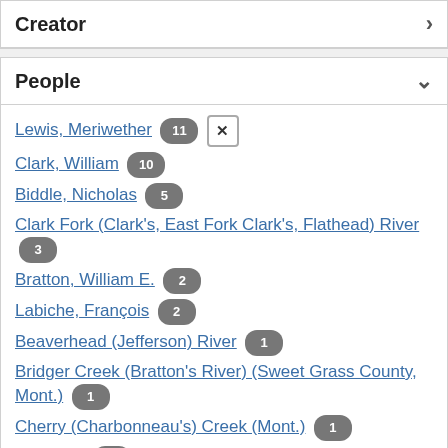Creator
People
Lewis, Meriwether 11 [x]
Clark, William 10
Biddle, Nicholas 5
Clark Fork (Clark's, East Fork Clark's, Flathead) River 3
Bratton, William E. 2
Labiche, François 2
Beaverhead (Jefferson) River 1
Bridger Creek (Bratton's River) (Sweet Grass County, Mont.) 1
Cherry (Charbonneau's) Creek (Mont.) 1
Chishuck 1
Clatskanie Indians 1